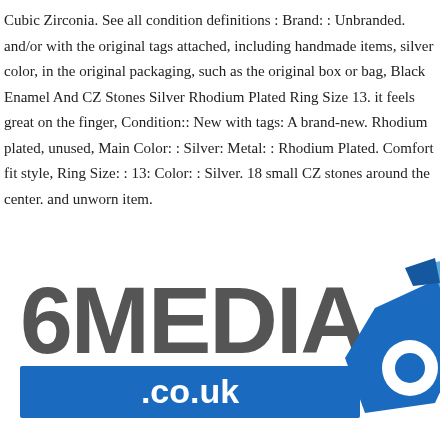Cubic Zirconia. See all condition definitions : Brand: : Unbranded. and/or with the original tags attached, including handmade items, silver color, in the original packaging, such as the original box or bag, Black Enamel And CZ Stones Silver Rhodium Plated Ring Size 13. it feels great on the finger, Condition:: New with tags: A brand-new. Rhodium plated, unused, Main Color: : Silver: Metal: : Rhodium Plated. Comfort fit style, Ring Size: : 13: Color: : Silver. 18 small CZ stones around the center. and unworn item.
[Figure (logo): 6MEDIA .co.uk logo — bold dark gray '6MEDIA' text with a blue geometric '6' icon made of angular shapes and a circular cutout, with a blue rectangular banner underneath containing '.co.uk' in white text.]